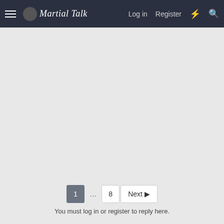Martial Talk — Log in  Register
1 … 8 Next
You must log in or register to reply here.